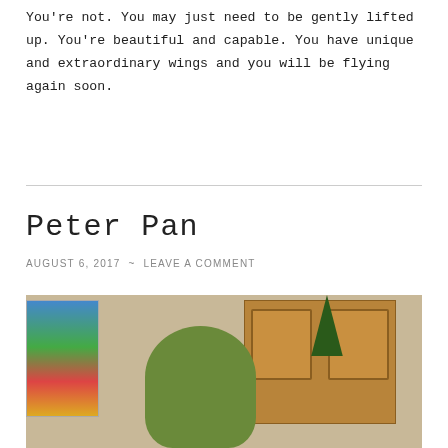You're not. You may just need to be gently lifted up. You're beautiful and capable. You have unique and extraordinary wings and you will be flying again soon.
Peter Pan
AUGUST 6, 2017 ~ LEAVE A COMMENT
[Figure (photo): Photo of a green stuffed animal or costume figure (resembling Kermit the Frog or Peter Pan character) in a kitchen/room setting with wooden cabinets, a rainbow artwork on the wall, and a plant in the background.]